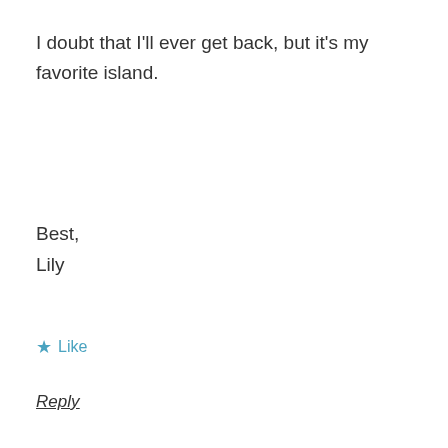I doubt that I'll ever get back, but it's my favorite island.
Best,
Lily
★ Like
Reply
[Figure (other): A row of 8 black dots used as a section divider]
[Figure (photo): Avatar photo of Clare Flourish, a woman with short dark hair]
Clare Flourish
28th October, 2011 at 12:13 am